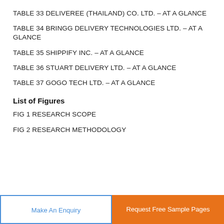TABLE 33 DELIVEREE (THAILAND) CO. LTD. – AT A GLANCE
TABLE 34 BRINGG DELIVERY TECHNOLOGIES LTD. – AT A GLANCE
TABLE 35 SHIPPIFY INC. – AT A GLANCE
TABLE 36 STUART DELIVERY LTD. – AT A GLANCE
TABLE 37 GOGO TECH LTD. – AT A GLANCE
List of Figures
FIG 1 RESEARCH SCOPE
FIG 2 RESEARCH METHODOLOGY